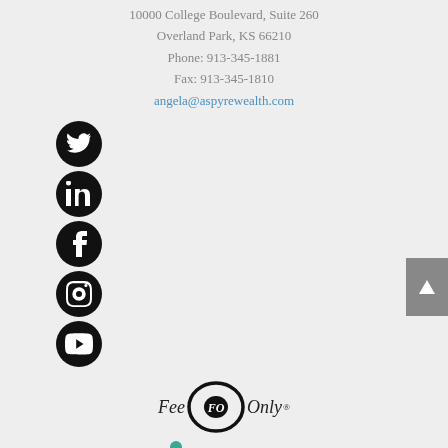10000 College Boulevard, Suite 260
Overland Park, KS 66210
Phone: 913-345-1881
Fax: 913-345-1810
angela@aspyrewealth.com
[Figure (illustration): Five social media icons (Twitter, LinkedIn, Facebook, Instagram, YouTube) as white icons on black circles, stacked vertically on the left side]
[Figure (logo): Fee Only FO registered trademark logo]
[Figure (logo): NAPFA logo with teal figure icon]